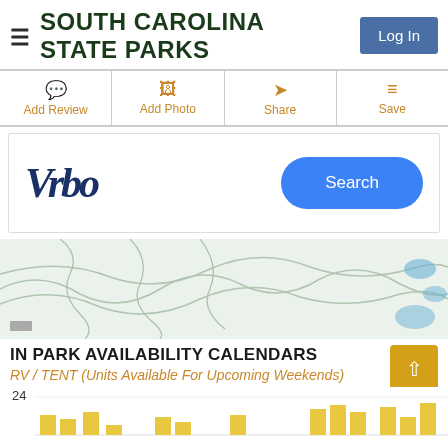SOUTH CAROLINA STATE PARKS
Log In
Add Review
Add Photo
Share
Save
[Figure (screenshot): Vrbo advertisement banner with Vrbo logo and Search button]
[Figure (map): Topographic map showing park terrain with contour lines, light green and white areas, with blue highlighted regions to the right]
IN PARK AVAILABILITY CALENDARS
RV / TENT (Units Available For Upcoming Weekends)
[Figure (bar-chart): Partial bar chart showing availability units (24 visible on y-axis) with yellow/gold bars at bottom of view]